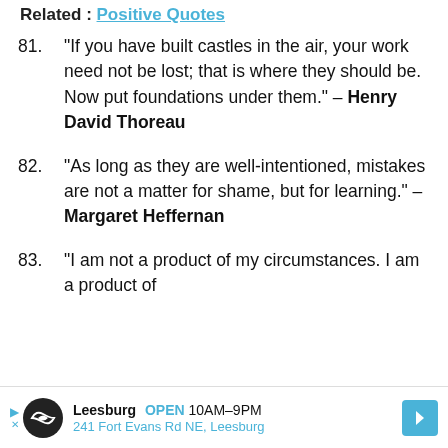Related : Positive Quotes
“If you have built castles in the air, your work need not be lost; that is where they should be. Now put foundations under them.” – Henry David Thoreau
“As long as they are well-intentioned, mistakes are not a matter for shame, but for learning.” – Margaret Heffernan
“I am not a product of my circumstances. I am a product of…
Leesburg OPEN 10AM–9PM 241 Fort Evans Rd NE, Leesburg